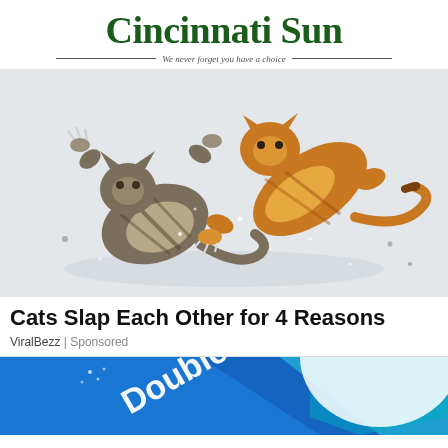Cincinnati Sun — We never forget you have a choice
[Figure (photo): Two cats fighting: a tabby cat lying on its back with paws raised and an orange cat pouncing on top, both on a snowy white surface.]
Cats Slap Each Other for 4 Reasons
ViralBezz | Sponsored
[Figure (photo): Partial view of a blue product box with 'Double' text visible in white lettering on a blue and teal background.]